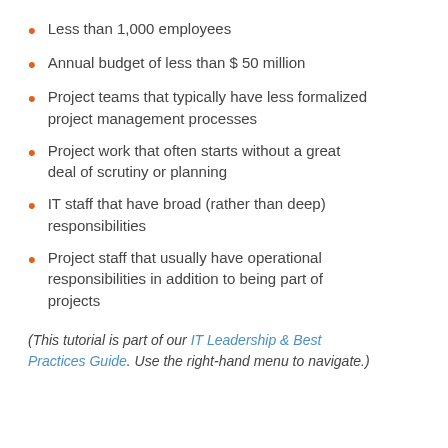Less than 1,000 employees
Annual budget of less than $ 50 million
Project teams that typically have less formalized project management processes
Project work that often starts without a great deal of scrutiny or planning
IT staff that have broad (rather than deep) responsibilities
Project staff that usually have operational responsibilities in addition to being part of projects
(This tutorial is part of our IT Leadership & Best Practices Guide. Use the right-hand menu to navigate.)